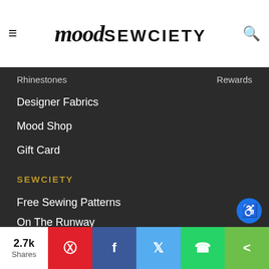mood SEWCIETY
Rhinestones | Rewards
Designer Fabrics
Mood Shop
Gift Card
SEWCIETY
Free Sewing Patterns
On The Runway
Mood Online School of Sewing
SHOP THIS LOOK
2.7k Shares